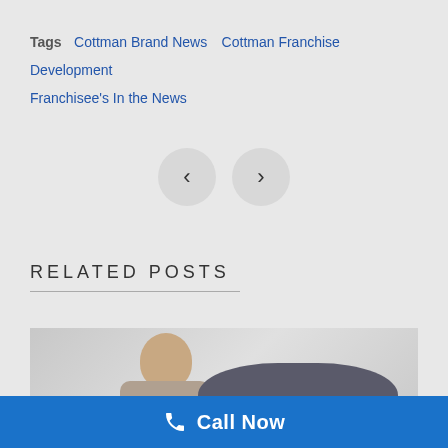Tags  Cottman Brand News  Cottman Franchise Development  Franchisee's In the News
[Figure (infographic): Navigation previous/next arrow buttons (left chevron and right chevron) on circular grey background]
RELATED POSTS
[Figure (photo): Man talking on phone while looking up, with a car brake/engine component visible in the background, partial blue badge overlay in corner]
Call Now